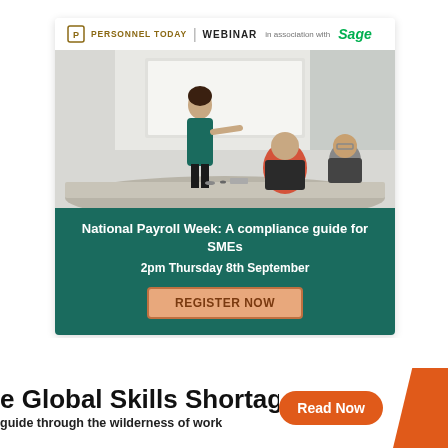[Figure (infographic): Personnel Today Webinar advertisement card with dark teal background. Top white header bar shows Personnel Today logo and 'WEBINAR in association with Sage'. Center shows a photo of a business meeting room with a woman presenting. Bottom text area shows event title, date, and Register Now button.]
National Payroll Week: A compliance guide for SMEs
2pm Thursday 8th September
REGISTER NOW
e Global Skills Shortage
guide through the wilderness of work
Read Now